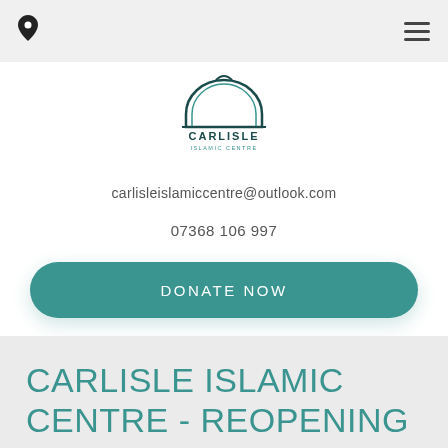Navigation bar with location pin and hamburger menu
[Figure (logo): Carlisle Islamic Centre logo — mosque arch illustration above the text CARLISLE ISLAMIC CENTRE]
carlisleislamiccentre@outlook.com
07368 106 997
DONATE NOW
CARLISLE ISLAMIC CENTRE - REOPENING
6 July 2020